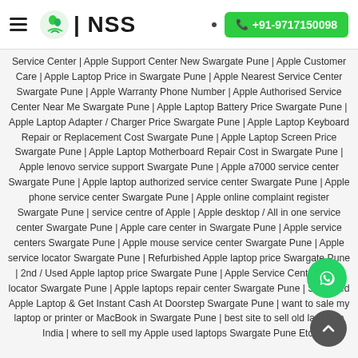NSS | +91-9717150098
Service Center | Apple Support Center New Swargate Pune | Apple Customer Care | Apple Laptop Price in Swargate Pune | Apple Nearest Service Center Swargate Pune | Apple Warranty Phone Number | Apple Authorised Service Center Near Me Swargate Pune | Apple Laptop Battery Price Swargate Pune | Apple Laptop Adapter / Charger Price Swargate Pune | Apple Laptop Keyboard Repair or Replacement Cost Swargate Pune | Apple Laptop Screen Price Swargate Pune | Apple Laptop Motherboard Repair Cost in Swargate Pune | Apple lenovo service support Swargate Pune | Apple a7000 service center Swargate Pune | Apple laptop authorized service center Swargate Pune | Apple phone service center Swargate Pune | Apple online complaint register Swargate Pune | service centre of Apple | Apple desktop / All in one service center Swargate Pune | Apple care center in Swargate Pune | Apple service centers Swargate Pune | Apple mouse service center Swargate Pune | Apple service locator Swargate Pune | Refurbished Apple laptop price Swargate Pune | 2nd / Used Apple laptop price Swargate Pune | Apple Service Center Store locator Swargate Pune | Apple laptops repair center Swargate Pune | Sell Used Apple Laptop & Get Instant Cash At Doorstep Swargate Pune | want to sale my laptop or printer or MacBook in Swargate Pune | best site to sell old laptop in India | where to sell my Apple used laptops Swargate Pune Etc.